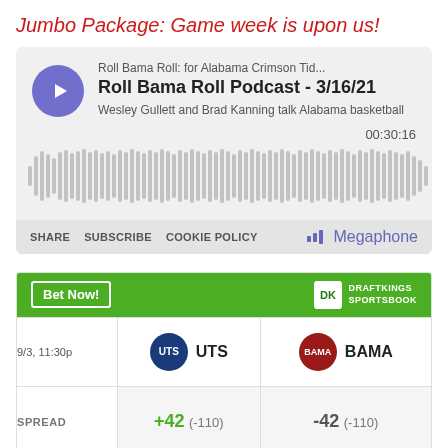Jumbo Package: Game week is upon us!
[Figure (screenshot): Megaphone podcast player embed showing 'Roll Bama Roll Podcast - 3/16/21' episode with audio waveform, duration 00:30:16, share/subscribe/cookie policy links, and Megaphone branding]
[Figure (table-as-image): DraftKings Sportsbook betting widget showing UTS vs BAMA game on 9/3 11:30p with spread +42 (-110) for UTS and -42 (-110) for BAMA]